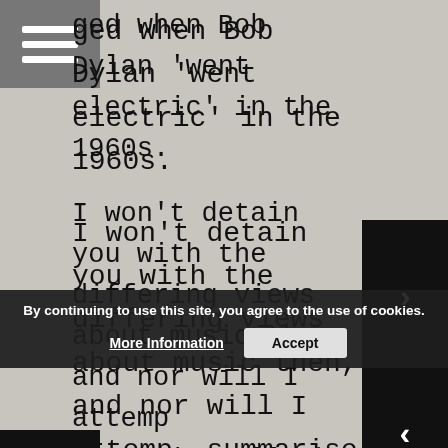ged when Bob Dylan 'went electric' in the 1960s.

I won't detain you with the differing views about music then, and nor will I attempt to summarise all the different opinions that are now about what is and isn't haiku.

Haiku may or may not involve just seventeen syllables - opinions vary. There are a number of additional rules, similarly subject to interpretation. The same is true of any other style of poetry.*

What's important to remember is that the requirements of haiku are just a framework.